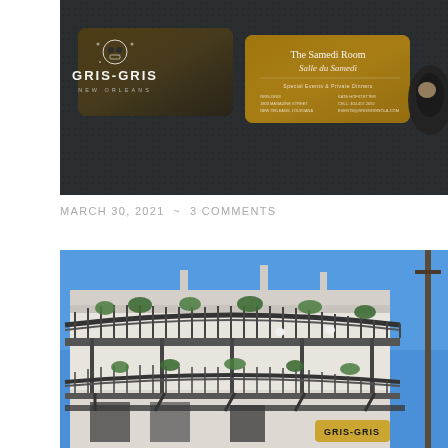[Figure (photo): Business cards for Gris-Gris restaurant in New Orleans on a dark textured surface. The left card is dark/black with a skull logo and 'GRIS-GRIS NEW ORLEANS' text. The right card shows 'The Samedi Room / Salle du Samedi', special events and private dinners info, with KATE HOFSTETTER contact details, 1800 Magazine Street, New Orleans, Louisiana, events@grisgrisnola.com. A small dish is partially visible at the right edge.]
MARCH 30, 2021  ~  3 COMMENTS
[Figure (photo): Exterior photo of the Gris-Gris restaurant building in New Orleans against a bright blue sky. The building is a white/cream two-story structure with ornate wrought iron balconies on both levels, decorated with potted plants and greenery. A utility pole is visible at the right edge. The Gris-Gris sign is visible at the bottom right of the building.]